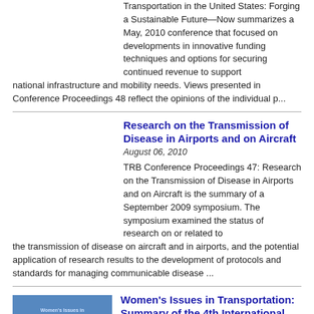Transportation in the United States: Forging a Sustainable Future—Now summarizes a May, 2010 conference that focused on developments in innovative funding techniques and options for securing continued revenue to support national infrastructure and mobility needs. Views presented in Conference Proceedings 48 reflect the opinions of the individual p...
Research on the Transmission of Disease in Airports and on Aircraft
August 06, 2010
TRB Conference Proceedings 47: Research on the Transmission of Disease in Airports and on Aircraft is the summary of a September 2009 symposium. The symposium examined the status of research on or related to the transmission of disease on aircraft and in airports, and the potential application of research results to the development of protocols and standards for managing communicable disease ...
Women's Issues in Transportation: Summary of the 4th International Conference, Volume 2: Technical Papers
May 04, 2011
[Figure (illustration): Book cover thumbnail for Women's Issues in Transportation, blue-tinted image showing transportation infrastructure (bridge/rail)]
Women's Issues in Transportation: Summary of the 4th International Conference, Volume 2: Technical Papers includes 27 full peer-reviewed papers that were presented at the October 2009 conference. The conference highlighted the latest research on changing demographics that affect transportation planning, programming, and policy making, as well as the latest research on crash and injury prevention f...